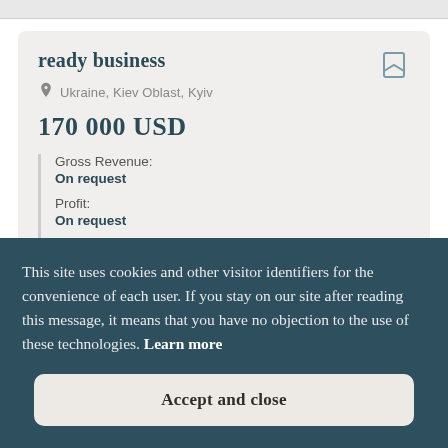ready business
Ukraine, Kiev Oblast, Kyiv
170 000 USD
Gross Revenue:
On request
Profit:
On request
Terms of alienation:
This site uses cookies and other visitor identifiers for the convenience of each user. If you stay on our site after reading this message, it means that you have no objection to the use of these technologies. Learn more
Accept and close